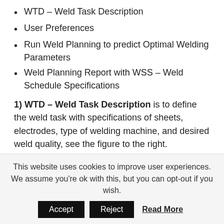WTD – Weld Task Description
User Preferences
Run Weld Planning to predict Optimal Welding Parameters
Weld Planning Report with WSS – Weld Schedule Specifications
1) WTD – Weld Task Description is to define the weld task with specifications of sheets, electrodes, type of welding machine, and desired weld quality, see the figure to the right.
2) User Preferences are for user preferred planning strategy. SORPAS® will always optimize the weld current, but users have the freedom to choose their own preferred
This website uses cookies to improve user experiences. We assume you're ok with this, but you can opt-out if you wish.